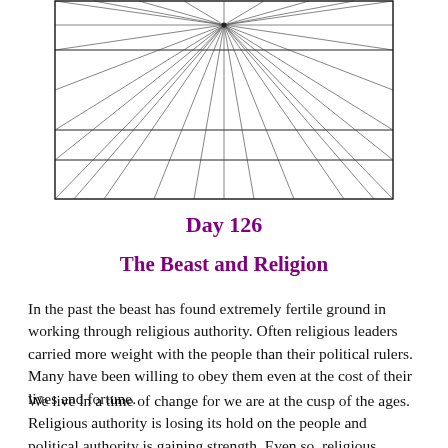[Figure (illustration): A geometric line drawing showing a vanishing point perspective diagram with radiating lines from a central point, divided into horizontal bands by ruled lines, enclosed in a rectangle.]
Day 126
The Beast and Religion
In the past the beast has found extremely fertile ground in working through religious authority. Often religious leaders carried more weight with the people than their political rulers. Many have been willing to obey them even at the cost of their lives and fortune.
We live in a time of change for we are at the cusp of the ages. Religious authority is losing its hold on the people and political authority is gaining strength. Even so, religious authority is still very strong, especially for